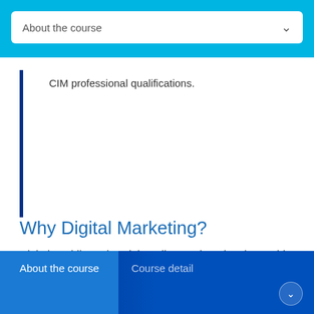About the course
CIM professional qualifications.
Why Digital Marketing?
Digital, mobile and social media are changing the world and this course gives you the chance to be at the forefront of these exciting developments. Our Digital Marketing degree is designedto give you expert knowledge in relation to data analytics, alongside practical skills to manage and implement marketing campaigns via digital, mobile and
About the course   Course detail